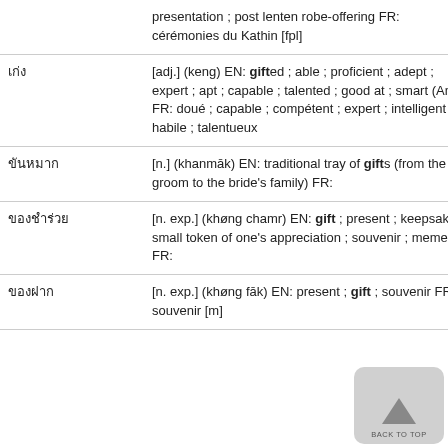| Thai | Definition |
| --- | --- |
| … | presentation ; post lenten robe-offering FR: cérémonies du Kathin [fpl] |
| เก่ง | [adj.] (keng) EN: gifted ; able ; proficient ; adept ; expert ; apt ; capable ; talented ; good at ; smart (Am.) FR: doué ; capable ; compétent ; expert ; intelligent ; habile ; talentueux |
| ขันหมาก | [n.] (khanmāk) EN: traditional tray of gifts (from the groom to the bride's family) FR: |
| ของชำร่วย | [n. exp.] (khøng chamr) EN: gift ; present ; keepsake ; small token of one's appreciation ; souvenir ; memento FR: |
| ของฝาก | [n. exp.] (khøng fāk) EN: present ; gift ; souvenir FR: souvenir [m] |